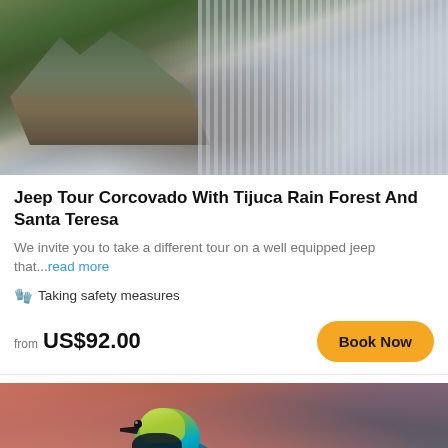[Figure (photo): Aerial view of Corcovado mountain with Christ the Redeemer statue and Rio de Janeiro city in background]
Jeep Tour Corcovado With Tijuca Rain Forest And Santa Teresa
We invite you to take a different tour on a well equipped jeep that...read more
🧤 Taking safety measures
from US$92.00
[Figure (photo): Close-up photo of a colorful tropical bird (Green-headed Tanager) with bright teal, green, and yellow plumage against a blurred reddish-pink and grey background]